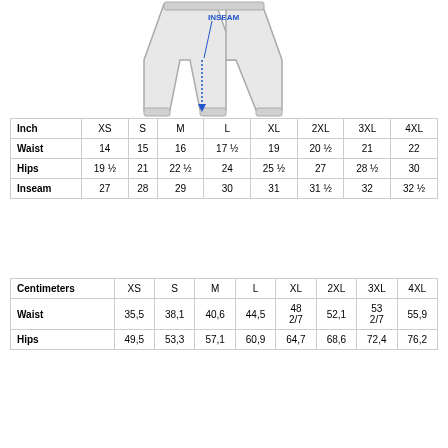[Figure (illustration): Diagram of pants/trousers showing the inseam measurement marked with a blue arrow and label 'INSEAM']
| Inch | XS | S | M | L | XL | 2XL | 3XL | 4XL |
| --- | --- | --- | --- | --- | --- | --- | --- | --- |
| Waist | 14 | 15 | 16 | 17 ½ | 19 | 20 ½ | 21 | 22 |
| Hips | 19 ½ | 21 | 22 ½ | 24 | 25 ½ | 27 | 28 ½ | 30 |
| Inseam | 27 | 28 | 29 | 30 | 31 | 31 ½ | 32 | 32 ½ |
| Centimeters | XS | S | M | L | XL | 2XL | 3XL | 4XL |
| --- | --- | --- | --- | --- | --- | --- | --- | --- |
| Waist | 35,5 | 38,1 | 40,6 | 44,5 | 48 2/7 | 52,1 | 53 2/7 | 55,9 |
| Hips | 49,5 | 53,3 | 57,1 | 60,9 | 64,7 | 68,6 | 72,4 | 76,2 |